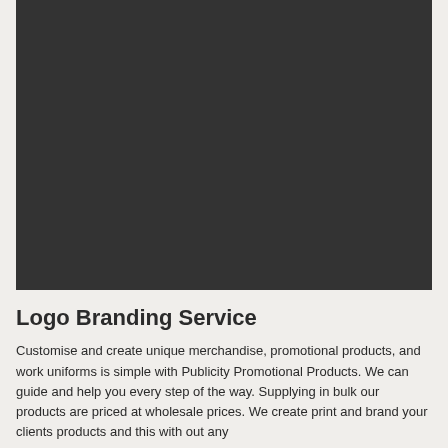[Figure (photo): Dark grey/charcoal rectangular image placeholder, likely a product or branding photo with a dark background.]
Logo Branding Service
Customise and create unique merchandise, promotional products, and work uniforms is simple with Publicity Promotional Products. We can guide and help you every step of the way. Supplying in bulk our products are priced at wholesale prices. We create print and brand your clients products and this with out any...